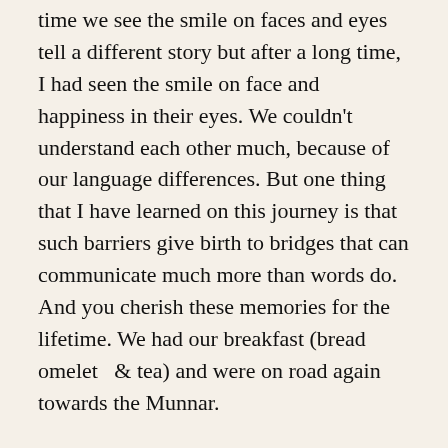time we see the smile on faces and eyes tell a different story but after a long time, I had seen the smile on face and happiness in their eyes. We couldn't understand each other much, because of our language differences. But one thing that I have learned on this journey is that such barriers give birth to bridges that can communicate much more than words do. And you cherish these memories for the lifetime. We had our breakfast (bread omelet  & tea) and were on road again towards the Munnar.
The road to Munnar was really good but we didn't enjoy that much as the road has the limited view as compared to what we have been to in the past 3-4 weeks. The highway has a few waterfalls as well but as is the case with all waterfalls of western ghats, the current was feeble during this time of year. We kept on moving further. As we closed in, the landscape started changing and we were entering the tea estates zone. The stretches of tea estates visible from the highwaywere endless. It was green everywhere